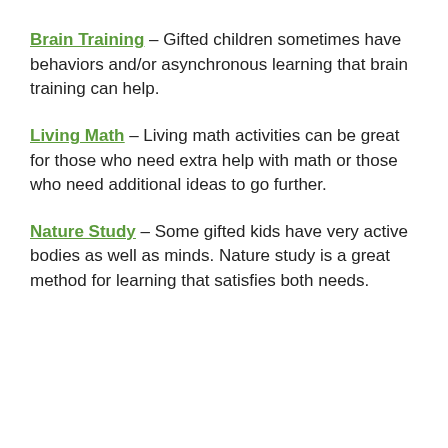Brain Training – Gifted children sometimes have behaviors and/or asynchronous learning that brain training can help.
Living Math – Living math activities can be great for those who need extra help with math or those who need additional ideas to go further.
Nature Study – Some gifted kids have very active bodies as well as minds. Nature study is a great method for learning that satisfies both needs.